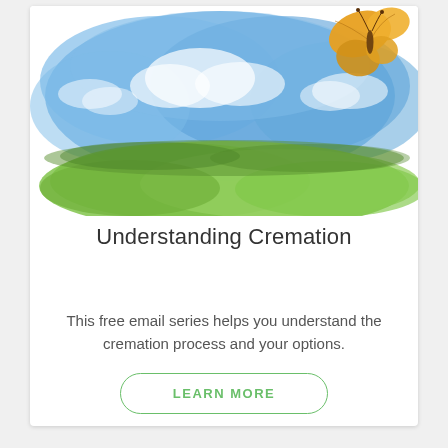[Figure (illustration): Watercolor illustration of a blue sky with white clouds, a green meadow landscape at the bottom, and an orange/yellow butterfly in the upper right corner.]
Understanding Cremation
This free email series helps you understand the cremation process and your options.
LEARN MORE